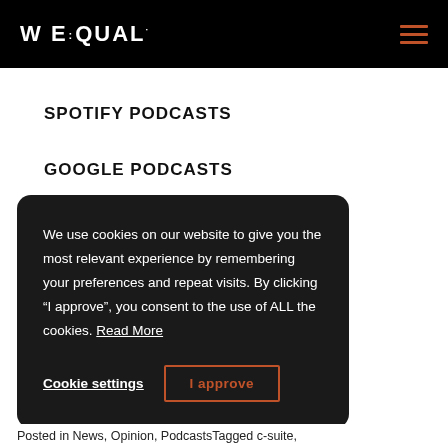WEQUAL
SPOTIFY PODCASTS
GOOGLE PODCASTS
We use cookies on our website to give you the most relevant experience by remembering your preferences and repeat visits. By clicking “I approve”, you consent to the use of ALL the cookies. Read More
Cookie settings   I approve
Posted in News, Opinion, PodcastsTagged c-suite,